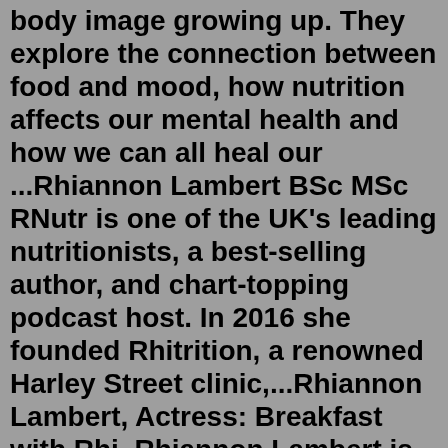body image growing up. They explore the connection between food and mood, how nutrition affects our mental health and how we can all heal our ...Rhiannon Lambert BSc MSc RNutr is one of the UK's leading nutritionists, a best-selling author, and chart-topping podcast host. In 2016 she founded Rhitrition, a renowned Harley Street clinic,...Rhiannon Lambert, Actress: Breakfast with Rhi. Rhiannon Lambert is an actress and producer, known for Breakfast with Rhi (2019), MasterChef Canada (2014) and ITV Lunchtime News (1988). Rhiannon Lambert won Classic FM's Singer of the year at just 17 years old. She is making her mark in the world of classical crossover music. Rhiannon performs with opera girl group 'Passionata ... 1 Preheat the oven to 180°C fan/200°C/400°F/gas mark 6. 2 Place the slices of bread on a baking tray and spread the ricotta (or vegan cream cheese) over the top. Bake for 6-8 minutes - this will warm the bread and slightly brown the cheese. 3 Meanwhile, add a tablespoon of oil to a frying pan, and when warm add